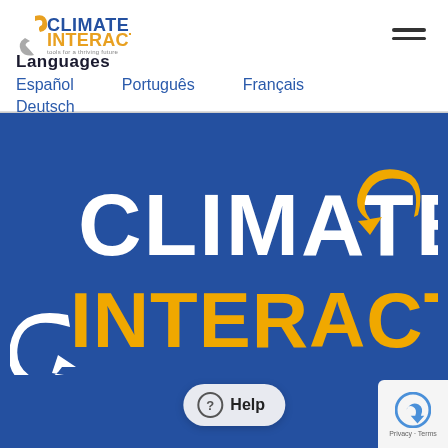[Figure (logo): Climate Interactive logo — small version in top left of white header bar]
Languages
Español
Português
Français
Deutsch
[Figure (logo): Climate Interactive large logo on blue background — white CLIMATE text with yellow arrow, yellow INTERACTIVE text with white arrow swirl]
© 2022 Climate Interactive | Privacy Pol...